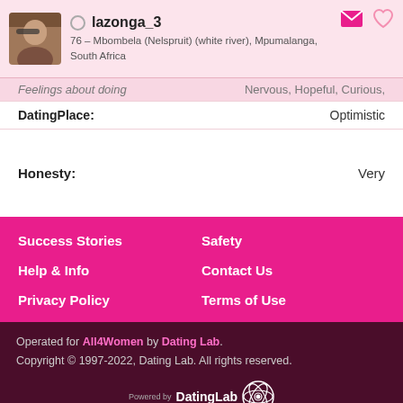lazonga_3 – 76 – Mbombela (Nelspruit) (white river), Mpumalanga, South Africa
Feelings about doing: Nervous, Hopeful, Curious,
DatingPlace: Optimistic
Honesty: Very
Success Stories
Safety
Help & Info
Contact Us
Privacy Policy
Terms of Use
Operated for All4Women by Dating Lab. Copyright © 1997-2022, Dating Lab. All rights reserved. Powered by DatingLab